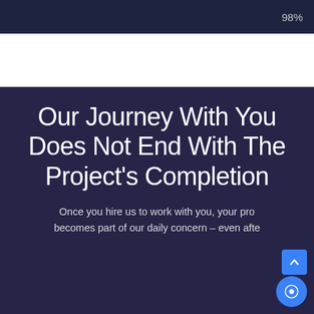98%
Our Journey With You Does Not End With The Project's Completion
Once you hire us to work with you, your pro... becomes part of our daily concern – even afte...